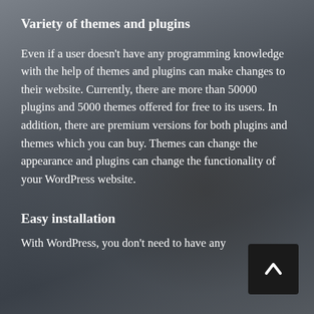Variety of themes and plugins
Even if a user doesn't have any programming knowledge with the help of themes and plugins can make changes to their website. Currently, there are more than 50000 plugins and 5000 themes offered for free to its users. In addition, there are premium versions for both plugins and themes which you can buy. Themes can change the appearance and plugins can change the functionality of your WordPress website.
Easy installation
With WordPress, you don't need to have any